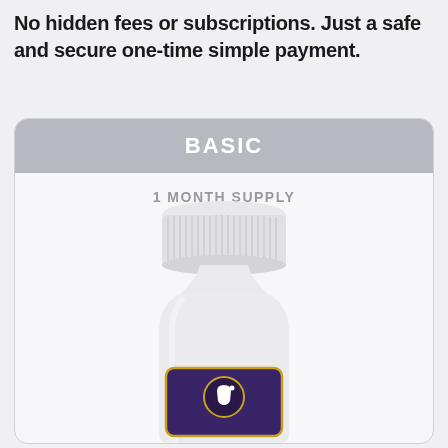No hidden fees or subscriptions. Just a safe and secure one-time simple payment.
BASIC
1 MONTH SUPPLY
[Figure (illustration): White supplement bottle with purple label featuring a tooth icon and gold accents]